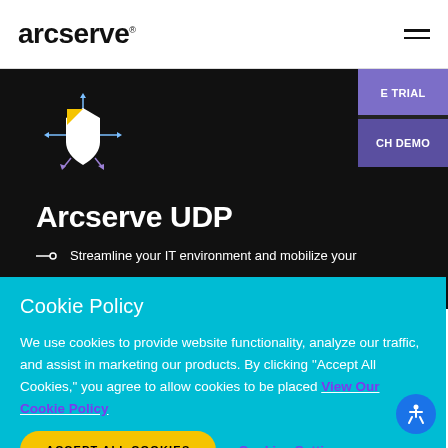[Figure (logo): Arcserve wordmark logo in black bold sans-serif font with registered trademark symbol]
[Figure (illustration): Arcserve UDP product icon: white shield shape with yellow triangle top-left corner, surrounded by directional arrow handles on dark background]
Arcserve UDP
Streamline your IT environment and mobilize your
E TRIAL
CH DEMO
Cookie Policy
We use cookies to provide website functionality, analyze our traffic, and assist in marketing our products. By clicking "Accept All Cookies," you agree to allow cookies to be placed View Our Cookie Policy
ACCEPT ALL COOKIES
Cookies Settings